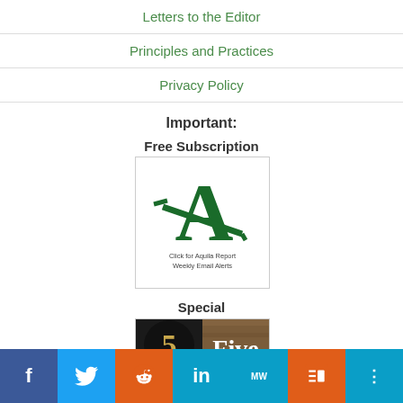Letters to the Editor
Principles and Practices
Privacy Policy
Important:
Free Subscription
[Figure (logo): Aquila Report logo with large green letter A and text: Click for Aquila Report Weekly Email Alerts]
Special
[Figure (photo): A promotional image showing the number 5 and the word Five on a wooden background]
f  Twitter  Reddit  in  MW  Mix  Share